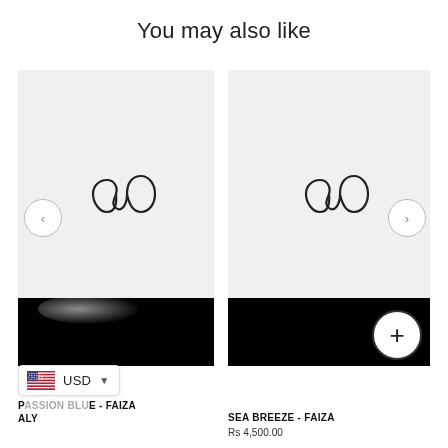You may also like
[Figure (screenshot): Product card with loading image placeholder showing infinity-like logo on grey background, with black bottom strip and navigation arrow buttons]
[Figure (screenshot): Second product card with loading image placeholder showing infinity-like logo on grey background, with black bottom strip, navigation arrow button, and plus button overlay]
PASSION BLUE - FAIZA ALY
SEA BREEZE - FAIZA
Rs 4,500.00